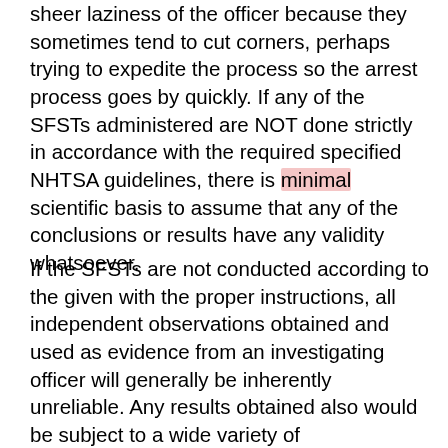sheer laziness of the officer because they sometimes tend to cut corners, perhaps trying to expedite the process so the arrest process goes by quickly. If any of the SFSTs administered are NOT done strictly in accordance with the required specified NHTSA guidelines, there is minimal scientific basis to assume that any of the conclusions or results have any validity whatsoever.
If the SFSTs are not conducted according to the given with the proper instructions, all independent observations obtained and used as evidence from an investigating officer will generally be inherently unreliable. Any results obtained also would be subject to a wide variety of interpretations by experts in the field, many of whom would disagree with certain conclusions made.  For instance, bloodshot eyes can be the result of many conditions and/or situations independent of intoxication, including simply being tired, having allergies, contact lens problems, being in a smoky environment, or it just possibly being a